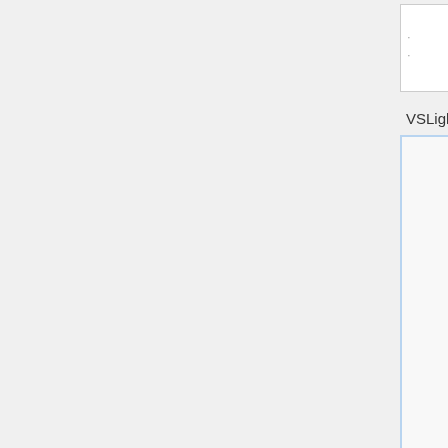[Figure (screenshot): Screenshot of a code editor (VSLight theme) showing Pascal/Delphi source code with syntax highlighting. The editor shows unit Main with interface, uses, const, and type sections. A context menu showing 'Edit current...' is visible at the top right. Line numbers are shown on the left gutter.]